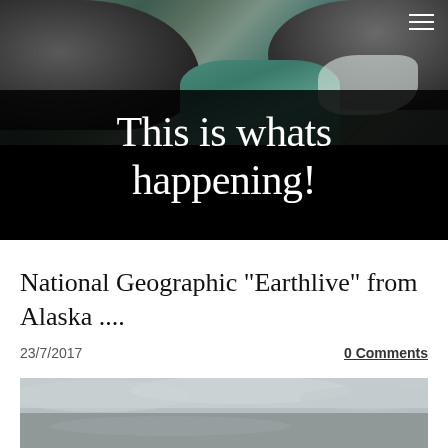[Figure (photo): Header background photo of rocky mountain landscape with teal-green water and snow patches]
This is whats happening!
National Geographic "Earthlive" from Alaska ....
23/7/2017
0 Comments
[Figure (photo): Partially visible bottom photo showing overcast cloudy sky, grey tones]